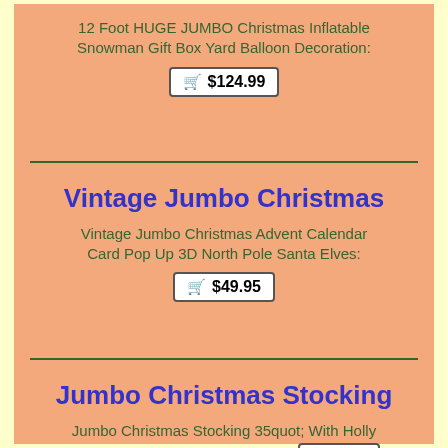12 Foot HUGE JUMBO Christmas Inflatable Snowman Gift Box Yard Balloon Decoration: 🛒 $124.99
Vintage Jumbo Christmas
Vintage Jumbo Christmas Advent Calendar Card Pop Up 3D North Pole Santa Elves: 🛒 $49.95
Jumbo Christmas Stocking
Jumbo Christmas Stocking 35quot; With Holly Accents Holiday Xmas Oversized: 🛒 $8.48